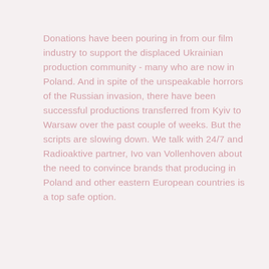Donations have been pouring in from our film industry to support the displaced Ukrainian production community - many who are now in Poland. And in spite of the unspeakable horrors of the Russian invasion, there have been successful productions transferred from Kyiv to Warsaw over the past couple of weeks. But the scripts are slowing down. We talk with 24/7 and Radioaktive partner, Ivo van Vollenhoven about the need to convince brands that producing in Poland and other eastern European countries is a top safe option.